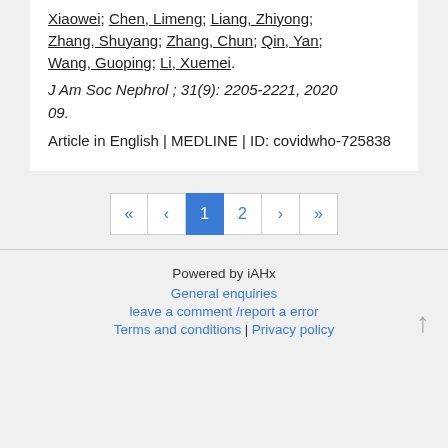Xiaowei; Chen, Limeng; Liang, Zhiyong; Zhang, Shuyang; Zhang, Chun; Qin, Yan; Wang, Guoping; Li, Xuemei.
J Am Soc Nephrol ; 31(9): 2205-2221, 2020 09.
Article in English | MEDLINE | ID: covidwho-725838
[Figure (other): Pagination controls: first page (<<), previous (<), page 1 (active, highlighted blue), page 2, next (>), last (>>)]
Powered by iAHx
General enquiries
leave a comment /report a error
Terms and conditions | Privacy policy